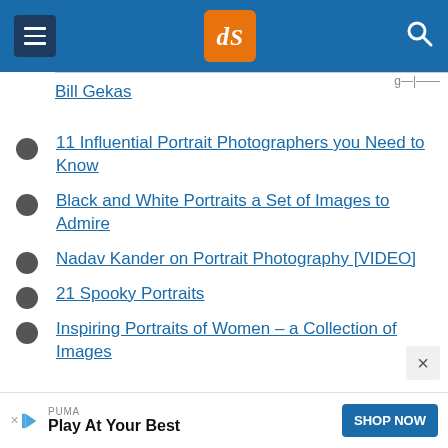dPS (digital Photography School) header with menu, logo, and search
Bill Gekas
11 Influential Portrait Photographers you Need to Know
Black and White Portraits a Set of Images to Admire
Nadav Kander on Portrait Photography [VIDEO]
21 Spooky Portraits
Inspiring Portraits of Women – a Collection of Images
PUMA — Play At Your Best — SHOP NOW (advertisement)